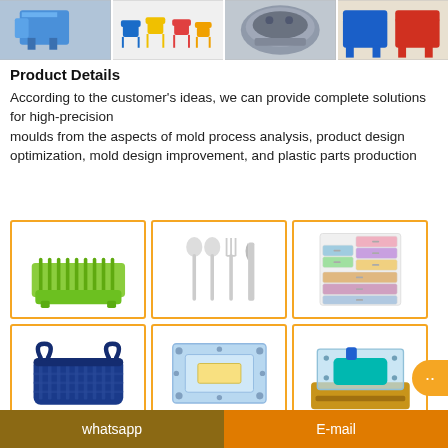[Figure (photo): Top banner strip with four product photos: plastic stool mold, colorful plastic chairs, metal mold part, blue and red chairs]
Product Details
According to the customer's ideas, we can provide complete solutions for high-precision moulds from the aspects of mold process analysis, product design optimization, mold design improvement, and plastic parts production
[Figure (photo): Green plastic dish rack / basket]
[Figure (photo): White plastic cutlery set: spoon, spoon, fork, knife]
[Figure (photo): Colorful stacked plastic drawer organizer/cabinet]
[Figure (photo): Dark blue rectangular plastic basket with handles]
[Figure (photo): Light blue injection mold tooling component]
[Figure (photo): Transparent injection mold with teal component inside]
whatsapp    E-mail